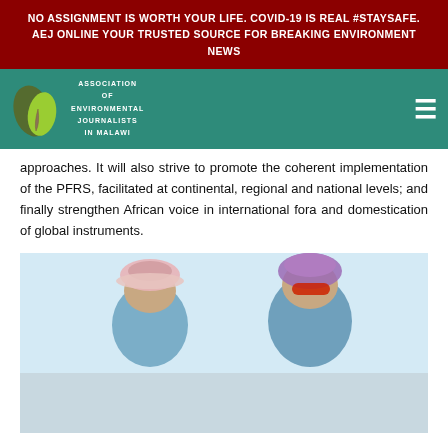NO ASSIGNMENT IS WORTH YOUR LIFE. COVID-19 IS REAL #STAYSAFE. AEJ ONLINE YOUR TRUSTED SOURCE FOR BREAKING ENVIRONMENT NEWS
[Figure (logo): Association of Environmental Journalists in Malawi logo with green leaf icon and teal navigation bar]
approaches. It will also strive to promote the coherent implementation of the PFRS, facilitated at continental, regional and national levels; and finally strengthen African voice in international fora and domestication of global instruments.
[Figure (photo): Two women wearing colorful headscarves and hats, dressed in blue shirts, outdoors in a bright environment.]